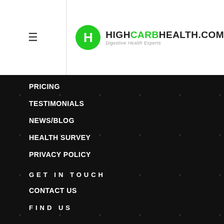HighCarbHealth.com — Digestive Health Experts
PRICING
TESTIMONIALS
NEWS/BLOG
HEALTH SURVEY
PRIVACY POLICY
GET IN TOUCH
CONTACT US
FIND US